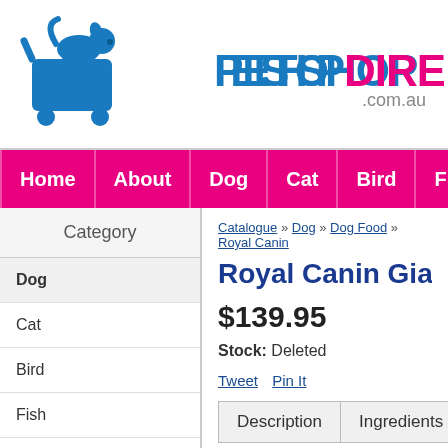[Figure (logo): PetShopDirect.com.au logo with blue shopping cart containing a dog, and 'PETSHOP' in blue and 'DIRECT' in magenta/pink text, '.com.au' below]
Home | About | Dog | Cat | Bird | Fish | Small
Category
Dog
Cat
Bird
Fish
Small Animal
Reptile
Poultry
Pest Control
Catalogue » Dog » Dog Food » Royal Canin
Royal Canin Gia
$139.95
Stock: Deleted
Tweet  Pin It
| Description | Ingredients |
| --- | --- |